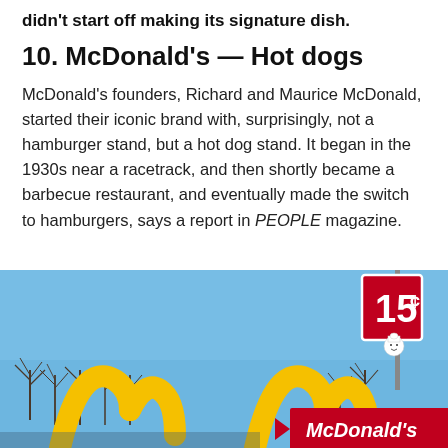didn't start off making its signature dish.
10. McDonald's — Hot dogs
McDonald's founders, Richard and Maurice McDonald, started their iconic brand with, surprisingly, not a hamburger stand, but a hot dog stand. It began in the 1930s near a racetrack, and then shortly became a barbecue restaurant, and eventually made the switch to hamburgers, says a report in PEOPLE magazine.
[Figure (photo): Photo of classic McDonald's golden arches sign with a 15-cent price sign and the McDonald's logo on a red sign, against a blue sky with bare trees in the background.]